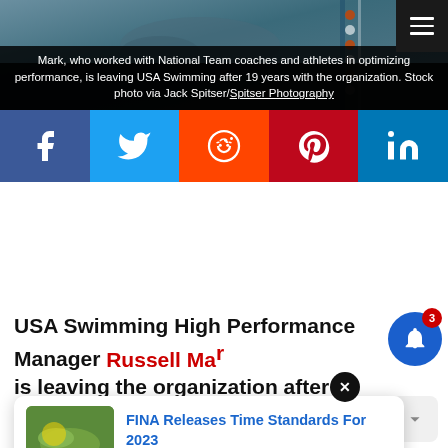[Figure (photo): Swimming pool background photo with a swimmer, overlaid with dark caption bar. Hamburger menu icon in top right corner.]
Mark, who worked with National Team coaches and athletes in optimizing performance, is leaving USA Swimming after 19 years with the organization. Stock photo via Jack Spitser/Spitser Photography
[Figure (infographic): Social media sharing bar with five buttons: Facebook, Twitter, Reddit, Pinterest, LinkedIn]
USA Swimming High Performance Manager Russell Ma... is leaving the organization after 19 years... source
[Figure (screenshot): Notification popup card showing 'FINA Releases Time Standards For 2023' with thumbnail image and '19 hours ago' timestamp, along with a 'Got it' red button and cookie consent text.]
Got it
This website uses cookies to ensure you get the best experience on our website.